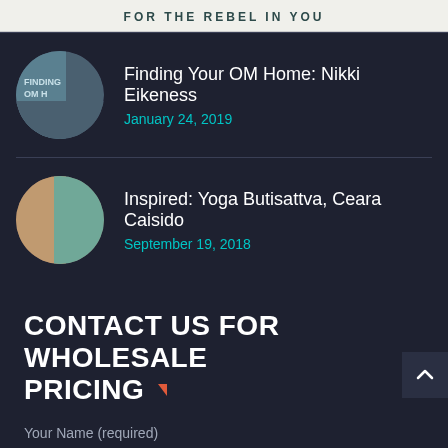FOR THE REBEL IN YOU
Finding Your OM Home: Nikki Eikeness
January 24, 2019
Inspired: Yoga Butisattva, Ceara Caisido
September 19, 2018
CONTACT US FOR WHOLESALE PRICING
Your Name (required)